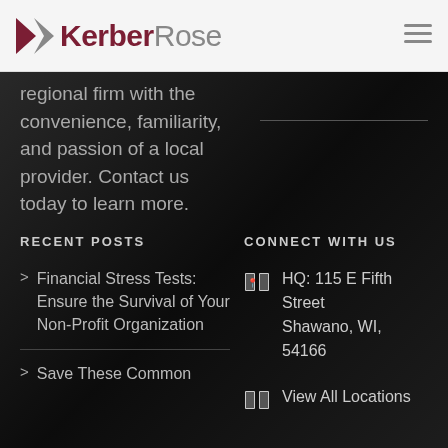KerberRose
regional firm with the convenience, familiarity, and passion of a local provider. Contact us today to learn more.
RECENT POSTS
CONNECT WITH US
Financial Stress Tests: Ensure the Survival of Your Non-Profit Organization
HQ: 115 E Fifth Street Shawano, WI, 54166
Save These Common
View All Locations